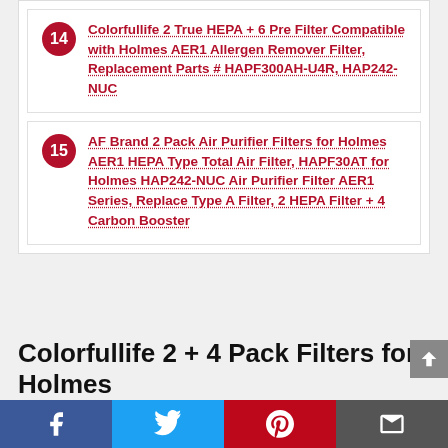14 Colorfullife 2 True HEPA + 6 Pre Filter Compatible with Holmes AER1 Allergen Remover Filter, Replacement Parts # HAPF300AH-U4R, HAP242-NUC
15 AF Brand 2 Pack Air Purifier Filters for Holmes AER1 HEPA Type Total Air Filter, HAPF30AT for Holmes HAP242-NUC Air Purifier Filter AER1 Series, Replace Type A Filter, 2 HEPA Filter + 4 Carbon Booster
Colorfullife 2 + 4 Pack Filters for Holmes